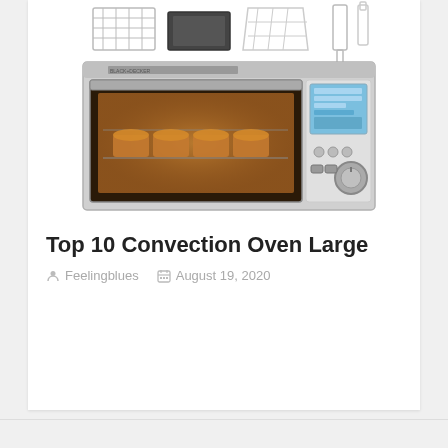[Figure (photo): A large stainless steel convection toaster oven with digital display, shown with accessories including a baking rack, baking pan, broiling rack, and two other tools displayed above the oven unit.]
Top 10 Convection Oven Large
Feelingblues   August 19, 2020